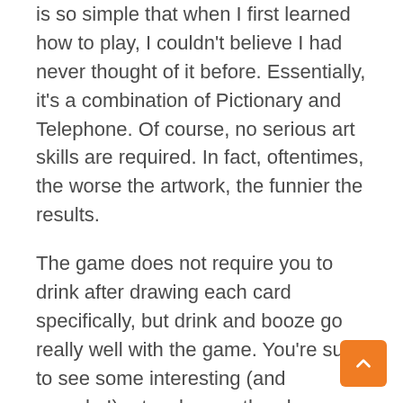is so simple that when I first learned how to play, I couldn't believe I had never thought of it before. Essentially, it's a combination of Pictionary and Telephone. Of course, no serious art skills are required. In fact, oftentimes, the worse the artwork, the funnier the results.
The game does not require you to drink after drawing each card specifically, but drink and booze go really well with the game. You're sure to see some interesting (and raunchy!) artwork once the players are high.
Gameplay: We all remember playing Telephone (or Whisper Down the Lane) as